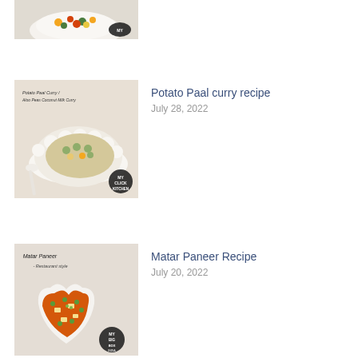[Figure (photo): Cropped top portion of a food photo showing a white bowl with mixed vegetable stir-fry, with a MY CLICK KITCHEN logo badge visible]
[Figure (photo): Food photo labeled 'Potato Paal Curry / Aloo Peas Coconut Milk Curry' showing a white scalloped bowl with mixed vegetables and peas, with a spoon and MY CLICK KITCHEN badge]
Potato Paal curry recipe
July 28, 2022
[Figure (photo): Food photo labeled 'Matar Paneer - Restaurant style' showing a heart-shaped white bowl with orange curry containing paneer and peas, with a MY CLICK KITCHEN badge]
Matar Paneer Recipe
July 20, 2022